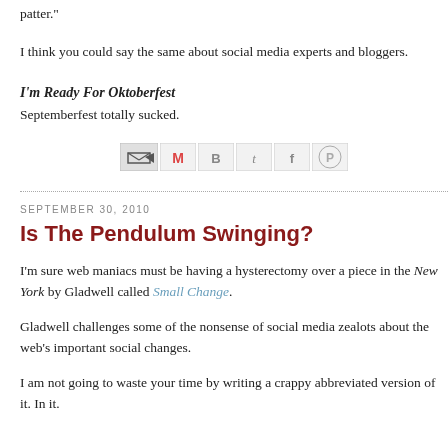patter."
I think you could say the same about social media experts and bloggers.
I'm Ready For Oktoberfest
Septemberfest totally sucked.
[Figure (other): Social share icons: email/forward icon, Gmail (M), Blogger (B), Twitter (t), Facebook (f), Pinterest (circle P)]
SEPTEMBER 30, 2010
Is The Pendulum Swinging?
I'm sure web maniacs must be having a hysterectomy over a piece in the New York by Gladwell called Small Change.
Gladwell challenges some of the nonsense of social media zealots about the web's important social changes.
I am not going to waste your time by writing a crappy abbreviated version of it. In it.